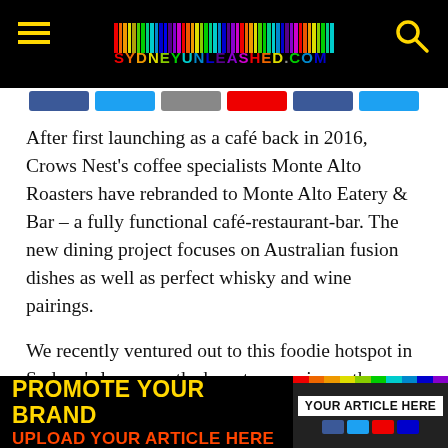SYDNEYUNLEASHED.COM
[Figure (logo): SydneyUnleashed.com website header with rainbow barcode logo, hamburger menu, and search icon on black background]
After first launching as a café back in 2016, Crows Nest's coffee specialists Monte Alto Roasters have rebranded to Monte Alto Eatery & Bar – a fully functional café-restaurant-bar. The new dining project focuses on Australian fusion dishes as well as perfect whisky and wine pairings.
We recently ventured out to this foodie hotspot in Sydney's lower north shore to experience the new inventive menu which features classic flavour combinations elevated by gentle twists to excite all taste buds. In what is sure to please existing patrons, Monte Alto will continue to serve a
[Figure (infographic): Promotional banner: PROMOTE YOUR BRAND / UPLOAD YOUR ARTICLE HERE in yellow and orange-red text on black background, with a phone mockup showing YOUR ARTICLE HERE]